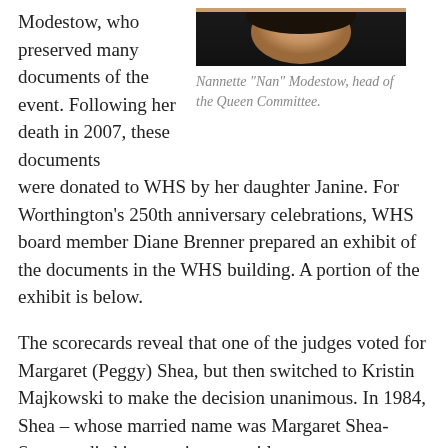Modestow, who preserved many documents of the event. Following her death in 2007, these documents were donated to WHS by her daughter Janine. For Worthington's 250th anniversary celebrations, WHS board member Diane Brenner prepared an exhibit of the documents in the WHS building. A portion of the exhibit is below.
[Figure (photo): Portrait photo of Nannette "Nan" Modestow, head of the Queen Committee, showing her face and dark hair cropped.]
Nannette "Nan" Modestow, head of the Queen Committee.
The scorecards reveal that one of the judges voted for Margaret (Peggy) Shea, but then switched to Kristin Majkowski to make the decision unanimous. In 1984, Shea – whose married name was Margaret Shea-Stopa –  died in a tragic car accident.
The coronation of the Queen took place during the